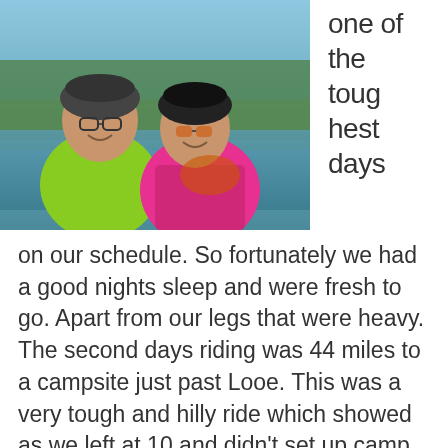[Figure (photo): Selfie photo of two cyclists wearing helmets and cycling jackets (one green, one pink) smiling outdoors near water and trees.]
one of the toughest days on our schedule. So fortunately we had a good nights sleep and were fresh to go. Apart from our legs that were heavy.  The second days riding was 44 miles to a campsite just past Looe. This was a very tough and hilly ride which showed as we left at 10 and didn’t set up camp till 1830! This did include tea in Looe though but shows how the hills just slow us down. The 35+kg or so of baggage is just too much for the hills